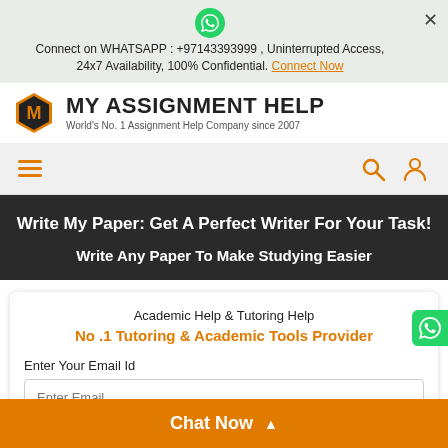Connect on WHATSAPP : +97143393999 , Uninterrupted Access, 24x7 Availability, 100% Confidential. Connect Now
[Figure (logo): My Assignment Help logo with orange hexagon M icon and company name]
[Figure (other): Navigation bar with hamburger menu, search icon and user icon]
Write My Paper: Get A Perfect Writer For Your Task!
Write Any Paper To Make Studying Easier
Academic Help & Tutoring Help
No .1 Tutoring & Academic Tools Provider
Enter Your Email Id
Enter Email
Chat Now